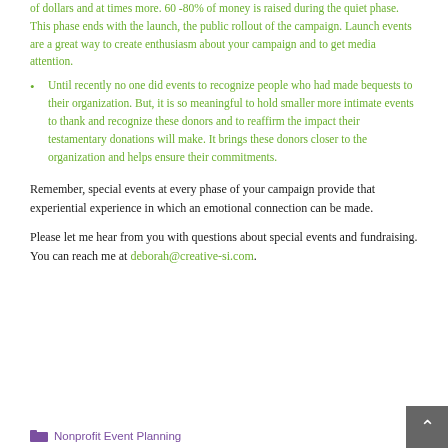of dollars and at times more. 60 -80% of money is raised during the quiet phase. This phase ends with the launch, the public rollout of the campaign. Launch events are a great way to create enthusiasm about your campaign and to get media attention.
Until recently no one did events to recognize people who had made bequests to their organization. But, it is so meaningful to hold smaller more intimate events to thank and recognize these donors and to reaffirm the impact their testamentary donations will make. It brings these donors closer to the organization and helps ensure their commitments.
Remember, special events at every phase of your campaign provide that experiential experience in which an emotional connection can be made.
Please let me hear from you with questions about special events and fundraising. You can reach me at deborah@creative-si.com.
Nonprofit Event Planning